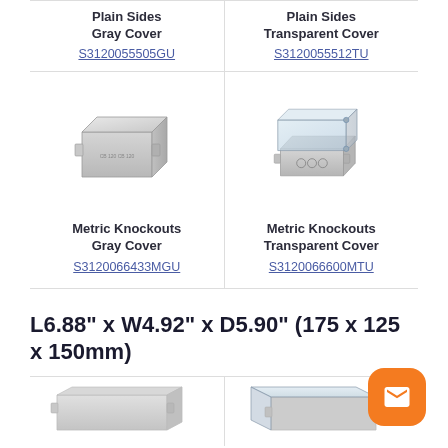Plain Sides
Gray Cover
S3120055505GU
Plain Sides
Transparent Cover
S3120055512TU
[Figure (photo): Gray enclosure box with plain sides and gray cover]
Metric Knockouts
Gray Cover
S3120066433MGU
[Figure (photo): Enclosure box with metric knockouts and transparent cover]
Metric Knockouts
Transparent Cover
S3120066600MTU
L6.88" x W4.92" x D5.90" (175 x 125 x 150mm)
[Figure (photo): Bottom partial product image - plain sides gray cover]
[Figure (photo): Bottom partial product image - transparent cover variant]